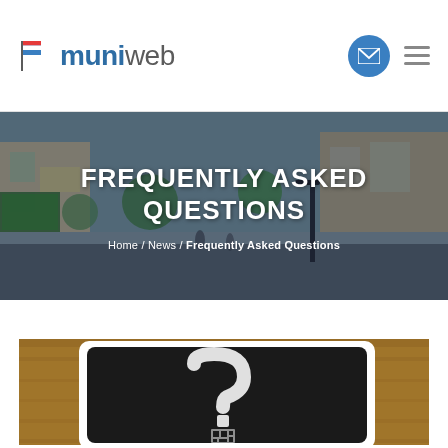muniweb
FREQUENTLY ASKED QUESTIONS
Home / News / Frequently Asked Questions
[Figure (photo): Close-up photo of a black chalkboard tablet with a question mark made of text/QR code pattern, placed on a wooden surface with a white frame border]